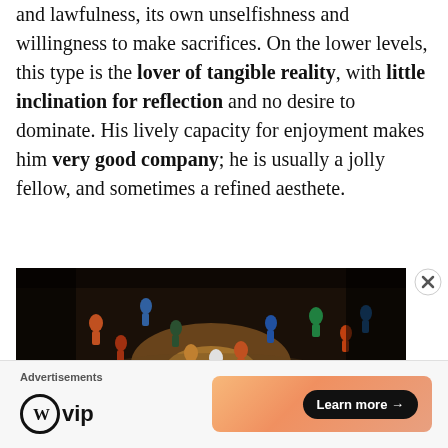and lawfulness, its own unselfishness and willingness to make sacrifices. On the lower levels, this type is the lover of tangible reality, with little inclination for reflection and no desire to dominate. His lively capacity for enjoyment makes him very good company; he is usually a jolly fellow, and sometimes a refined aesthete.
[Figure (photo): Aerial/overhead view of a group of people gathered in a circle in a dimly lit space, with warm orange light at the center]
Advertisements
[Figure (logo): WordPress VIP logo with circle W and 'vip' text]
[Figure (infographic): Orange gradient advertisement banner with 'Learn more →' button]